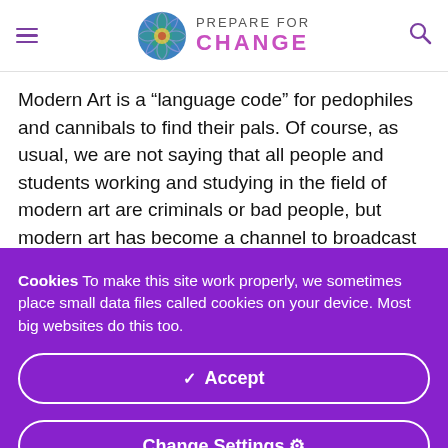PREPARE FOR CHANGE
Modern Art is a “language code” for pedophiles and cannibals to find their pals. Of course, as usual, we are not saying that all people and students working and studying in the field of modern art are criminals or bad people, but modern art has become a channel to broadcast pedophilia, bestiality, and cannibalism through symbols. Symbols which
Cookies To make this site work properly, we sometimes place small data files called cookies on your device. Most big websites do this too.
✓ Accept
Change Settings ⚙